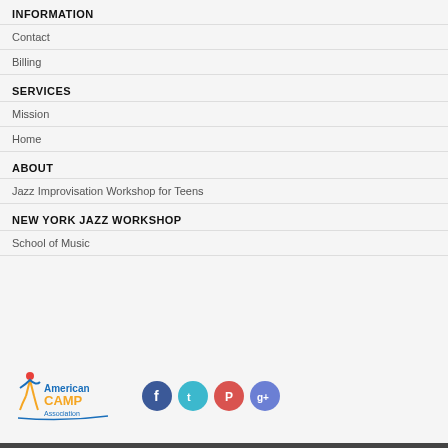INFORMATION
Contact
Billing
SERVICES
Mission
Home
ABOUT
Jazz Improvisation Workshop for Teens
NEW YORK JAZZ WORKSHOP
School of Music
[Figure (logo): American Camp Association logo with stylized figure and colorful text]
[Figure (infographic): Social media icon buttons: Facebook (blue), Twitter (teal), Pinterest (red), Google+ (purple-blue)]